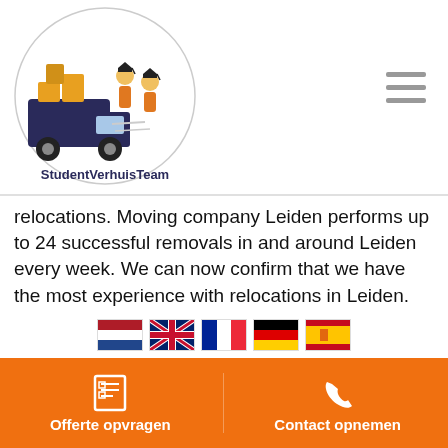[Figure (logo): StudentVerhuisTeam logo with moving truck and students]
relocations. Moving company Leiden performs up to 24 successful removals in and around Leiden every week. We can now confirm that we have the most experience with relocations in Leiden. Would you like to know more about our services or know more about how cheap we can be of service to you? Then send an e-mail to info@studentverhuisteam.nl. or call one of our moving experts in Leiden via 085 902 68 08.
THE COSTS OF MOVING COMPANY LEIDEN
[Figure (other): Language selection flags: Dutch, English, French, German, Spanish]
Offerte opvragen   Contact opnemen